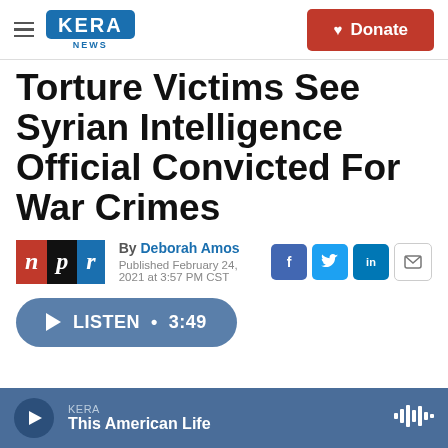KERA NEWS | Donate
Torture Victims See Syrian Intelligence Official Convicted For War Crimes
By Deborah Amos
Published February 24, 2021 at 3:57 PM CST
LISTEN • 3:49
KERA – This American Life